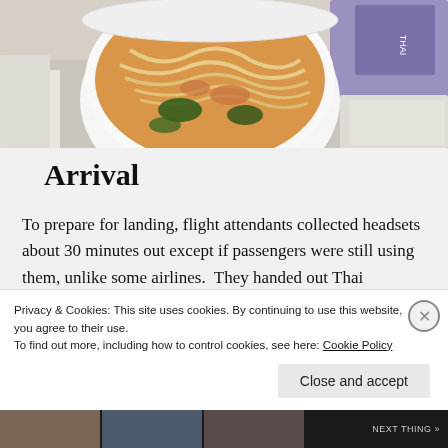[Figure (photo): A bowl of noodle soup with vegetables served on an airplane tray, with a Thai Airways amenity kit visible in the upper right corner.]
Arrival
To prepare for landing, flight attendants collected headsets about 30 minutes out except if passengers were still using them, unlike some airlines.  They handed out Thai immigration forms and played a video on Thai
Privacy & Cookies: This site uses cookies. By continuing to use this website, you agree to their use.
To find out more, including how to control cookies, see here: Cookie Policy
Close and accept